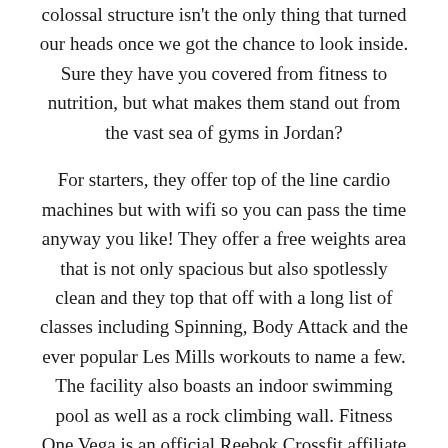colossal structure isn't the only thing that turned our heads once we got the chance to look inside. Sure they have you covered from fitness to nutrition, but what makes them stand out from the vast sea of gyms in Jordan?
For starters, they offer top of the line cardio machines but with wifi so you can pass the time anyway you like! They offer a free weights area that is not only spacious but also spotlessly clean and they top that off with a long list of classes including Spinning, Body Attack and the ever popular Les Mills workouts to name a few. The facility also boasts an indoor swimming pool as well as a rock climbing wall. Fitness One Vega is an official Reebok Crossfit affiliate where they